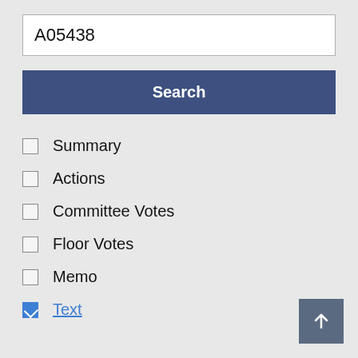A05438
Search
Summary
Actions
Committee Votes
Floor Votes
Memo
Text